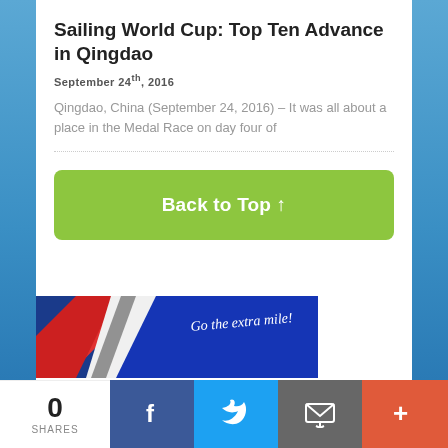Sailing World Cup: Top Ten Advance in Qingdao
September 24th, 2016
Qingdao, China (September 24, 2016) – It was all about a place in the Medal Race on day four of
Back to Top ↑
[Figure (photo): Sailing boat with red, white and blue sails. Text reads 'Go the extra mile!']
0 SHARES | Facebook | Twitter | Email | More